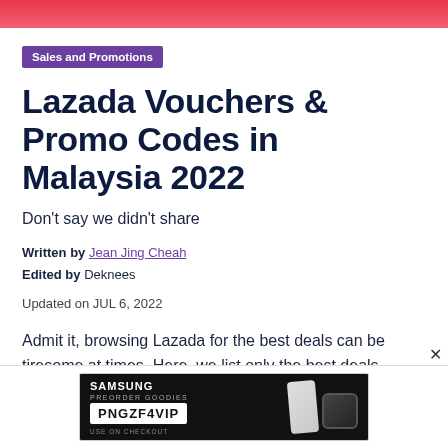[Figure (photo): Red/pink banner image at top of page]
Sales and Promotions
Lazada Vouchers & Promo Codes in Malaysia 2022
Don't say we didn't share
Written by Jean Jing Cheah
Edited by Deknees
Updated on JUL 6, 2022
Admit it, browsing Lazada for the best deals can be tiresome at times. Here, we list only the best deals available on Lazada Malaysia. Whether you're looking for
[Figure (screenshot): Samsung advertisement banner with promo code PNGZF4VIP, showing phone and watch devices]